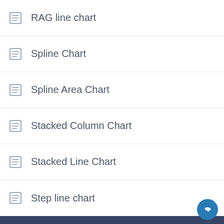RAG line chart
Spline Chart
Spline Area Chart
Stacked Column Chart
Stacked Line Chart
Step line chart
Grids
Grid
Pivot Grid
Filters
Date Filter